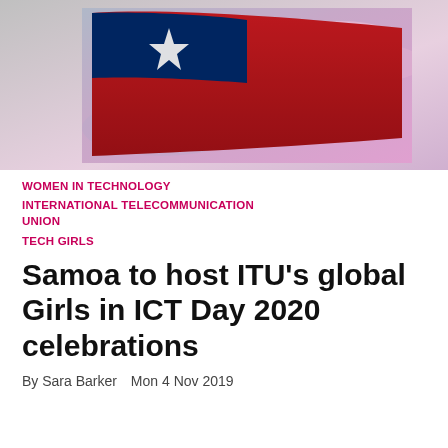[Figure (photo): Samoa flag waving against a dramatic pink and purple cloudy sky background]
WOMEN IN TECHNOLOGY
INTERNATIONAL TELECOMMUNICATION UNION
TECH GIRLS
Samoa to host ITU's global Girls in ICT Day 2020 celebrations
By Sara Barker  Mon 4 Nov 2019